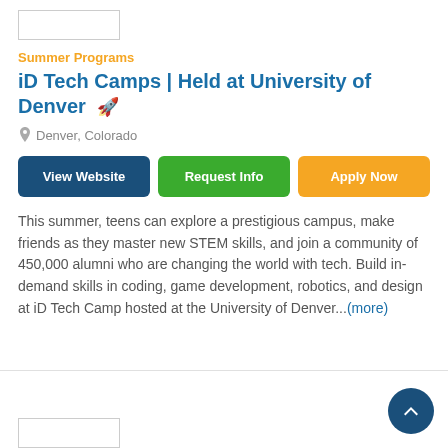[Figure (logo): Program logo placeholder box]
Summer Programs
iD Tech Camps | Held at University of Denver 🚀
Denver, Colorado
View Website | Request Info | Apply Now
This summer, teens can explore a prestigious campus, make friends as they master new STEM skills, and join a community of 450,000 alumni who are changing the world with tech. Build in-demand skills in coding, game development, robotics, and design at iD Tech Camp hosted at the University of Denver...(more)